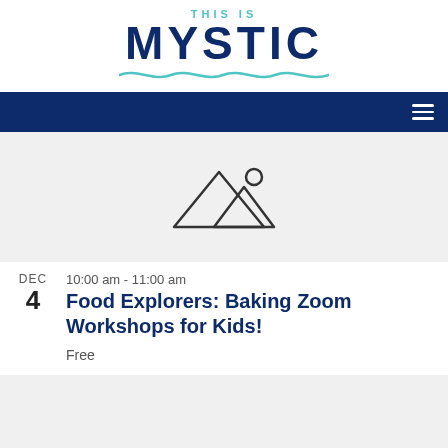[Figure (logo): This Is Mystic logo with wave underline]
[Figure (other): Navigation bar with hamburger menu icon]
[Figure (illustration): Gray placeholder image box with mountain/landscape icon outline]
10:00 am - 11:00 am
Food Explorers: Baking Zoom Workshops for Kids!
Free
[Figure (illustration): Gray placeholder image box at bottom]